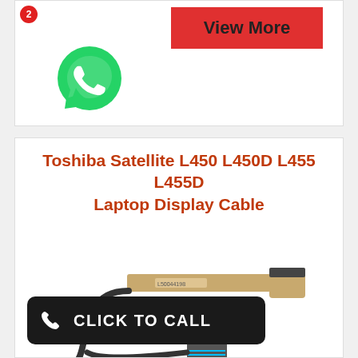[Figure (infographic): Red badge with number 2, View More button in red, WhatsApp green icon]
Toshiba Satellite L450 L450D L455 L455D Laptop Display Cable
[Figure (photo): Laptop display cable for Toshiba Satellite L450 L450D L455 L455D - flexible flat cable with connectors]
CLICK TO CALL